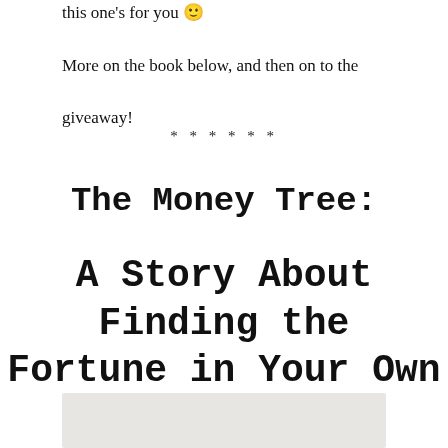this one's for you 🙂

More on the book below, and then on to the giveaway!
* * * * * *
The Money Tree:
A Story About Finding the Fortune in Your Own Backyard
[Figure (photo): Bottom portion of a book cover image, partially visible at the bottom of the page]